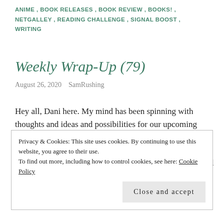ANIME, BOOK RELEASES, BOOK REVIEW, BOOKS!, NETGALLEY, READING CHALLENGE, SIGNAL BOOST, WRITING
Weekly Wrap-Up (79)
August 26, 2020   SamRushing
Hey all, Dani here. My mind has been spinning with thoughts and ideas and possibilities for our upcoming D&D session on Saturday. It is the final session of this first story arc and I'm so excited and nervous about what could happen. The Dungeon Master is teasing that it could be an intense and emotional… Continue reading
Privacy & Cookies: This site uses cookies. By continuing to use this website, you agree to their use.
To find out more, including how to control cookies, see here: Cookie Policy
[Close and accept]